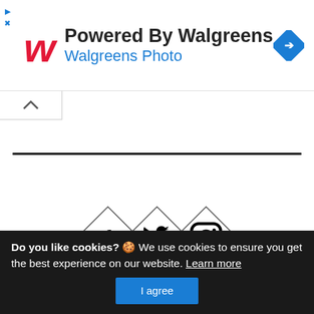[Figure (logo): Walgreens advertisement banner with red W logo, 'Powered By Walgreens' heading, 'Walgreens Photo' subheading, and blue navigation diamond icon]
[Figure (illustration): Three diamond-shaped social media icons in a row: Facebook (f), Twitter (bird), Instagram (camera)]
© Copyright 2022. All rights reserved. Powered by
Do you like cookies? 🍪 We use cookies to ensure you get the best experience on our website. Learn more I agree